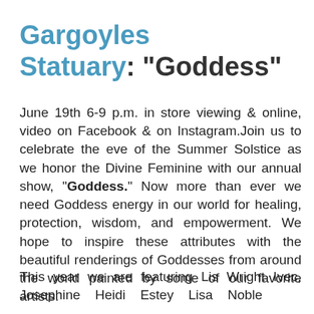Gargoyles Statuary: "Goddess"
June 19th 6-9 p.m. in store viewing & online, video on Facebook & on Instagram.Join us to celebrate the eve of the Summer Solstice as we honor the Divine Feminine with our annual show, "Goddess." Now more than ever we need Goddess energy in our world for healing, protection, wisdom, and empowerment. We hope to inspire these attributes with the beautiful renderings of Goddesses from around the world painted by some of our favorite artists.
This year we are featuring Lis Wright Ivec, Josephine   Heidi   Estey   Lisa   Noble